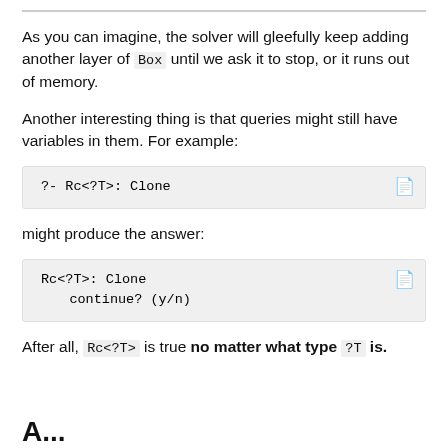As you can imagine, the solver will gleefully keep adding another layer of Box until we ask it to stop, or it runs out of memory.
Another interesting thing is that queries might still have variables in them. For example:
?- Rc<?T>: Clone
might produce the answer:
Rc<?T>: Clone
    continue? (y/n)
After all, Rc<?T> is true no matter what type ?T is.
A...